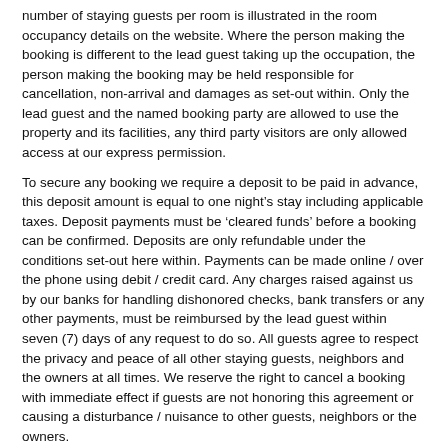number of staying guests per room is illustrated in the room occupancy details on the website. Where the person making the booking is different to the lead guest taking up the occupation, the person making the booking may be held responsible for cancellation, non-arrival and damages as set-out within. Only the lead guest and the named booking party are allowed to use the property and its facilities, any third party visitors are only allowed access at our express permission.
To secure any booking we require a deposit to be paid in advance, this deposit amount is equal to one night’s stay including applicable taxes. Deposit payments must be ‘cleared funds’ before a booking can be confirmed. Deposits are only refundable under the conditions set-out here within. Payments can be made online / over the phone using debit / credit card. Any charges raised against us by our banks for handling dishonored checks, bank transfers or any other payments, must be reimbursed by the lead guest within seven (7) days of any request to do so. All guests agree to respect the privacy and peace of all other staying guests, neighbors and the owners at all times. We reserve the right to cancel a booking with immediate effect if guests are not honoring this agreement or causing a disturbance / nuisance to other guests, neighbors or the owners.
Check-in & Check-out
Guests must check-in and check-out by the times stated below;
Check-in:        4:00pm - 7:00pm on day of arrival
Check-out:      11:00 ...